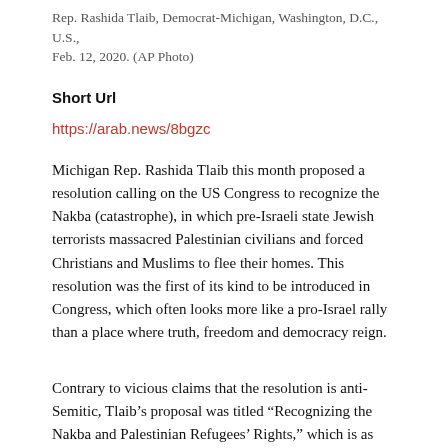Rep. Rashida Tlaib, Democrat-Michigan, Washington, D.C., U.S., Feb. 12, 2020. (AP Photo)
Short Url
https://arab.news/8bgzc
Michigan Rep. Rashida Tlaib this month proposed a resolution calling on the US Congress to recognize the Nakba (catastrophe), in which pre-Israeli state Jewish terrorists massacred Palestinian civilians and forced Christians and Muslims to flee their homes. This resolution was the first of its kind to be introduced in Congress, which often looks more like a pro-Israel rally than a place where truth, freedom and democracy reign.
Contrary to vicious claims that the resolution is anti-Semitic, Tlaib's proposal was titled “Recognizing the Nakba and Palestinian Refugees’ Rights,” which is as honorable a demand